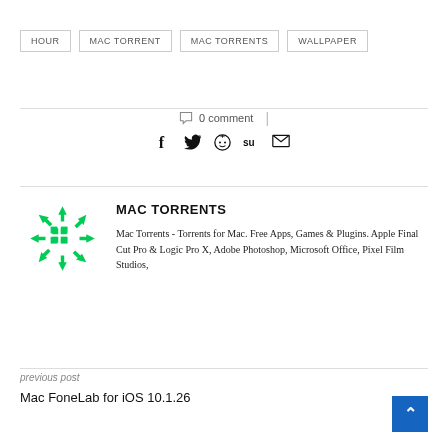HOUR
MAC TORRENT
MAC TORRENTS
WALLPAPER
0 comment
[Figure (logo): Green circular Mac Torrents logo with hash/grid symbol]
MAC TORRENTS
Mac Torrents - Torrents for Mac. Free Apps, Games & Plugins. Apple Final Cut Pro & Logic Pro X, Adobe Photoshop, Microsoft Office, Pixel Film Studios,
previous post
Mac FoneLab for iOS 10.1.26